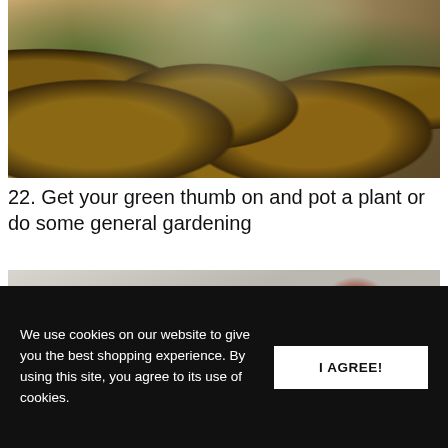[Figure (photo): Overhead view of multiple seedling plants growing in small peat pots on a light surface, with green sprouts and dark soil, sunlight casting shadows.]
22. Get your green thumb on and pot a plant or do some general gardening
[Figure (photo): A person lying on their back with legs raised up in a yoga or stretching pose against a light grey background, showing bare legs and feet with a visible tattoo near the ankle.]
We use cookies on our website to give you the best shopping experience. By using this site, you agree to its use of cookies.